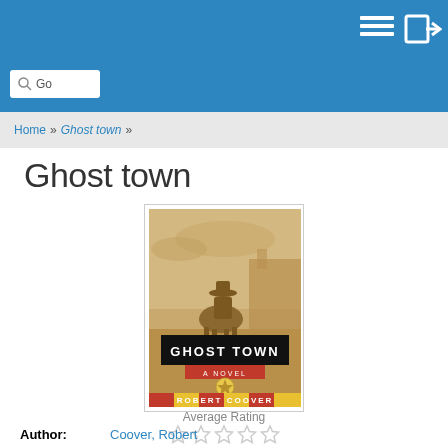Go | [menu icon] [login icon]
Home » Ghost town »
Ghost town
[Figure (photo): Book cover of 'Ghost Town: A Novel' by Robert Coover. Sepia-toned cover showing a cowboy on horseback in a dusty western town. The title 'GHOST TOWN' appears in bold white text on a black banner. Below is a red and gold striped band with 'ROBERT COOVER' in white letters.]
Average Rating
★★★★★ (empty stars)
Author: Coover, Robert
Publisher: Henry Holt